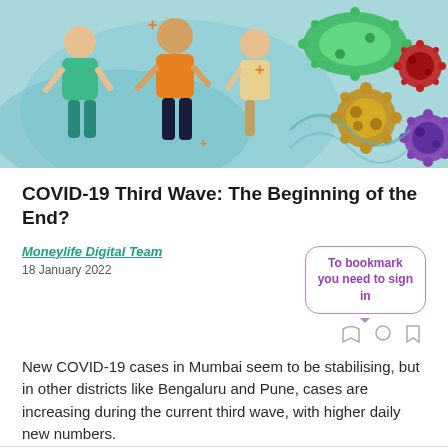[Figure (illustration): Illustration of people and COVID-19 virus particles on a light blue background. Three people walking, with colorful virus icons (green, orange/gold, purple, red) visible on the right side.]
COVID-19 Third Wave: The Beginning of the End?
Moneylife Digital Team
18 January 2022
To bookmark you need to sign in
New COVID-19 cases in Mumbai seem to be stabilising, but in other districts like Bengaluru and Pune, cases are increasing during the current third wave, with higher daily new numbers.
Read More